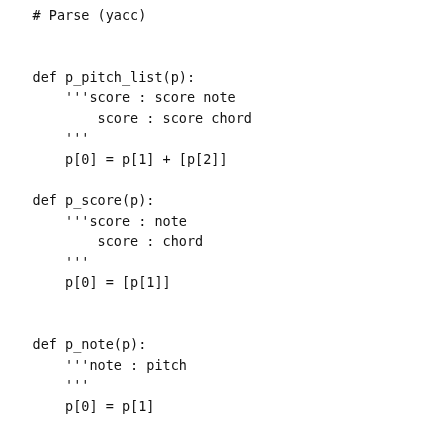# Parse (yacc)

def p_pitch_list(p):
    '''score : score note
        score : score chord
    '''
    p[0] = p[1] + [p[2]]

def p_score(p):
    '''score : note
        score : chord
    '''
    p[0] = [p[1]]


def p_note(p):
    '''note : pitch
    '''
    p[0] = p[1]


def p_note_length(p):
    ''' note : note NOTE_LENGTH
    '''

    new_note = p[1]